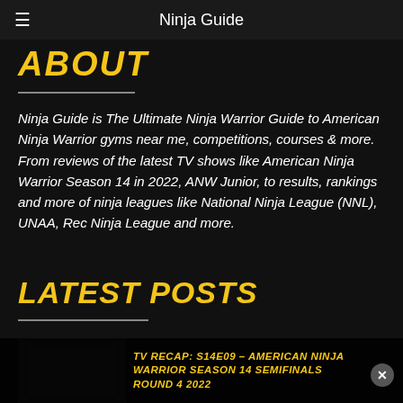Ninja Guide
ABOUT
Ninja Guide is The Ultimate Ninja Warrior Guide to American Ninja Warrior gyms near me, competitions, courses & more.  From reviews of the latest TV shows like American Ninja Warrior Season 14 in 2022, ANW Junior, to results, rankings and more of ninja leagues like National Ninja League (NNL), UNAA, Rec Ninja League and more.
LATEST POSTS
[Figure (photo): Thumbnail image for a TV recap post about American Ninja Warrior Season 14 Semifinals Round 4 2022]
TV RECAP: S14E09 – AMERICAN NINJA WARRIOR SEASON 14 SEMIFINALS ROUND 4 2022